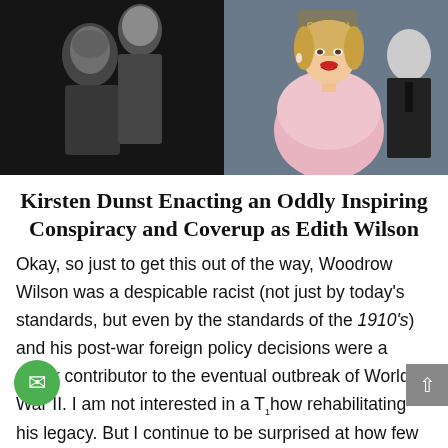[Figure (photo): Two side-by-side photos: left is a black-and-white historical photo of Woodrow Wilson and Edith Wilson; right is a color photo of actress Kirsten Dunst at a Golden Globes event, wearing pink, with a man in a suit behind her.]
Kirsten Dunst Enacting an Oddly Inspiring Conspiracy and Coverup as Edith Wilson
Okay, so just to get this out of the way, Woodrow Wilson was a despicable racist (not just by today's standards, but even by the standards of the 1910's) and his post-war foreign policy decisions were a major contributor to the eventual outbreak of World War II. I am not interested in a T show rehabilitating his legacy. But I continue to be surprised at how few people know that his second wife,